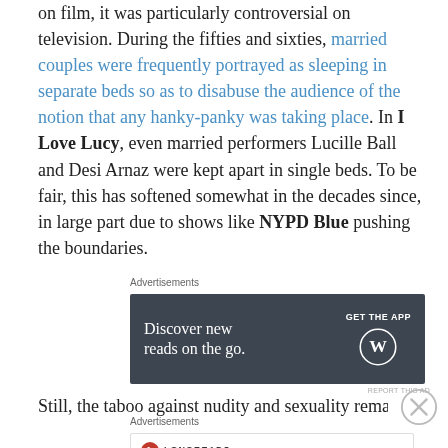on film, it was particularly controversial on television. During the fifties and sixties, married couples were frequently portrayed as sleeping in separate beds so as to disabuse the audience of the notion that any hanky-panky was taking place. In I Love Lucy, even married performers Lucille Ball and Desi Arnaz were kept apart in single beds. To be fair, this has softened somewhat in the decades since, in large part due to shows like NYPD Blue pushing the boundaries.
[Figure (other): WordPress advertisement banner: dark gray background with text 'Discover new reads on the go.' and 'GET THE APP' button with WordPress logo]
Still, the taboo against nudity and sexuality remains in
[Figure (other): Longreads advertisement banner: white background with Longreads logo and text 'Bringing you the best stories on the web since 2009.']